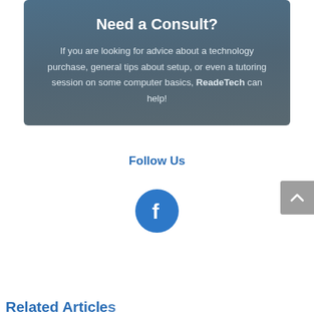Need a Consult?
If you are looking for advice about a technology purchase, general tips about setup, or even a tutoring session on some computer basics, ReadeTech can help!
Follow Us
[Figure (logo): Facebook circular icon button with white 'f' letter on blue background]
Related Articles